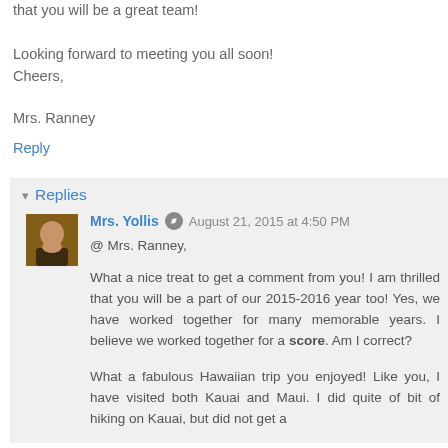that you will be a great team!
Looking forward to meeting you all soon!
Cheers,
Mrs. Ranney
Reply
Replies
Mrs. Yollis  August 21, 2015 at 4:50 PM
@ Mrs. Ranney,
What a nice treat to get a comment from you! I am thrilled that you will be a part of our 2015-2016 year too! Yes, we have worked together for many memorable years. I believe we worked together for a score. Am I correct?
What a fabulous Hawaiian trip you enjoyed! Like you, I have visited both Kauai and Maui. I did quite of bit of hiking on Kauai, but did not get a